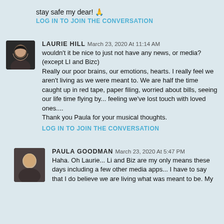stay safe my dear! 🙏
LOG IN TO JOIN THE CONVERSATION
LAURIE HILL March 23, 2020 At 11:14 AM
wouldn't it be nice to just not have any news, or media? (except LI and Bizc)
Really our poor brains, our emotions, hearts. I really feel we aren't living as we were meant to. We are half the time caught up in red tape, paper filing, worried about bills, seeing our life time flying by... feeling we've lost touch with loved ones....
Thank you Paula for your musical thoughts.
LOG IN TO JOIN THE CONVERSATION
PAULA GOODMAN March 23, 2020 At 5:47 PM
Haha. Oh Laurie... Li and Biz are my only means these days including a few other media apps... I have to say that I do believe we are living what was meant to be. My half of that thought was to change the narrative.